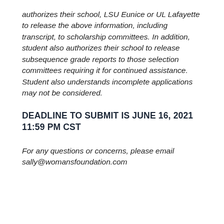authorizes their school, LSU Eunice or UL Lafayette to release the above information, including transcript, to scholarship committees. In addition, student also authorizes their school to release subsequence grade reports to those selection committees requiring it for continued assistance. Student also understands incomplete applications may not be considered.
DEADLINE TO SUBMIT IS JUNE 16, 2021 11:59 PM CST
For any questions or concerns, please email sally@womansfoundation.com